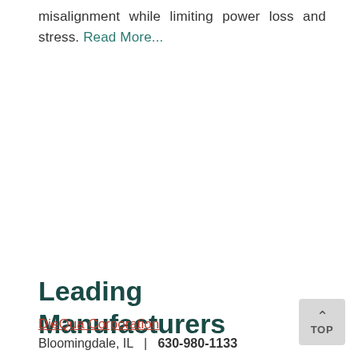misalignment while limiting power loss and stress. Read More...
Leading Manufacturers
DieQua Corporation
Bloomingdale, IL  |  630-980-1133